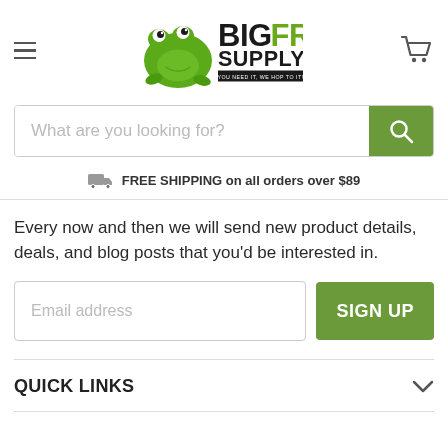[Figure (logo): Big Frog Supply logo with green frog illustration and text 'BIG FROG SUPPLY – YOU NEED IT, WE HOP TO IT!']
What are you looking for?
FREE SHIPPING on all orders over $89
Every now and then we will send new product details, deals, and blog posts that you'd be interested in.
Email address
SIGN UP
QUICK LINKS